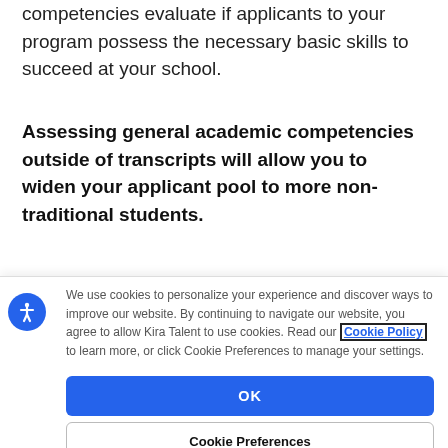competencies evaluate if applicants to your program possess the necessary basic skills to succeed at your school.
Assessing general academic competencies outside of transcripts will allow you to widen your applicant pool to more non-traditional students.
We use cookies to personalize your experience and discover ways to improve our website. By continuing to navigate our website, you agree to allow Kira Talent to use cookies. Read our Cookie Policy to learn more, or click Cookie Preferences to manage your settings.